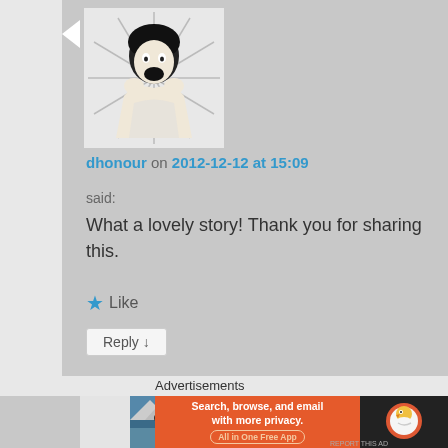[Figure (illustration): Black and white pop-art style illustration of a woman with open mouth, screaming or reacting, with radiating lines behind her head]
dhonour on 2012-12-12 at 15:09
said:
What a lovely story! Thank you for sharing this.
★ Like
Reply ↓
merlinspielen on 2012-12-12 at 21:33 said:
Advertisements
[Figure (screenshot): DuckDuckGo advertisement banner: orange background with text 'Search, browse, and email with more privacy. All in One Free App' and DuckDuckGo duck logo on dark right panel]